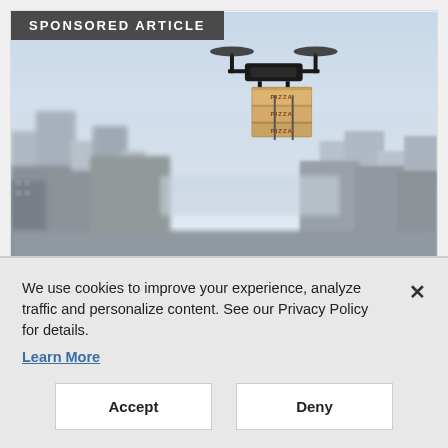[Figure (photo): Drone carrying three stacked pizza boxes flying over a blurred city skyline]
SPONSORED ARTICLE
DIGITAL EXPERIENCE
We use cookies to improve your experience, analyze traffic and personalize content. See our Privacy Policy for details. Learn More
Accept
Deny